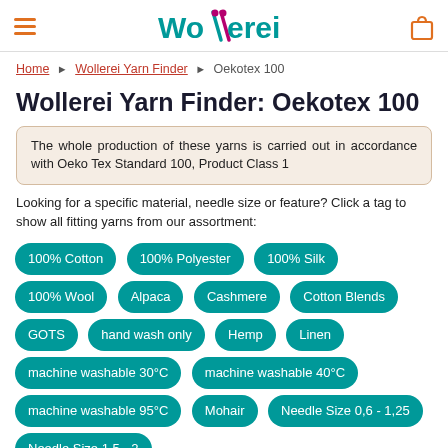Wollerei [logo] [hamburger menu] [cart icon]
Home ▶ Wollerei Yarn Finder ▶ Oekotex 100
Wollerei Yarn Finder: Oekotex 100
The whole production of these yarns is carried out in accordance with Oeko Tex Standard 100, Product Class 1
Looking for a specific material, needle size or feature? Click a tag to show all fitting yarns from our assortment:
100% Cotton
100% Polyester
100% Silk
100% Wool
Alpaca
Cashmere
Cotton Blends
GOTS
hand wash only
Hemp
Linen
machine washable 30°C
machine washable 40°C
machine washable 95°C
Mohair
Needle Size 0,6 - 1,25
Needle Size 1,5 - 2